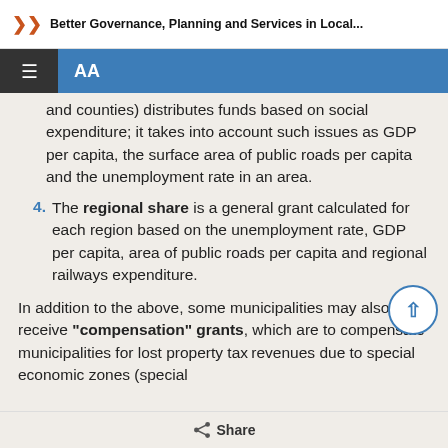Better Governance, Planning and Services in Local...
and counties) distributes funds based on social expenditure; it takes into account such issues as GDP per capita, the surface area of public roads per capita and the unemployment rate in an area.
4. The regional share is a general grant calculated for each region based on the unemployment rate, GDP per capita, area of public roads per capita and regional railways expenditure.
In addition to the above, some municipalities may also receive "compensation" grants, which are to compensate municipalities for lost property tax revenues due to special economic zones (special
Share